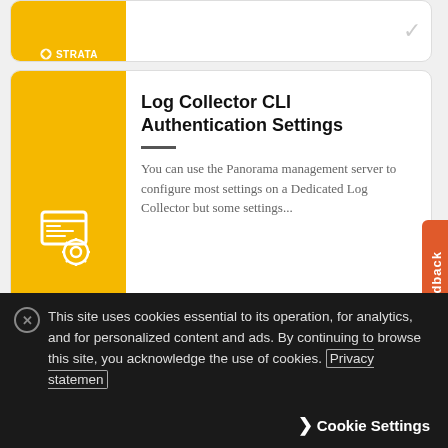[Figure (screenshot): Partial card showing Strata logo on yellow background, with checkmark icon on right]
Log Collector CLI Authentication Settings
You can use the Panorama management server to configure most settings on a Dedicated Log Collector but some settings...
Log Collector Interface Settings
However, Palo Alto Networks recommends that you assign separate interfaces for log collection and Collector Group...
This site uses cookies essential to its operation, for analytics, and for personalized content and ads. By continuing to browse this site, you acknowledge the use of cookies. Privacy statemen
Cookie Settings